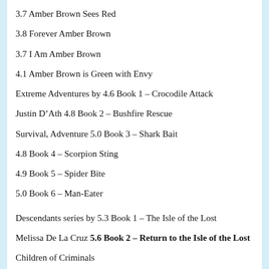3.7 Amber Brown Sees Red
3.8 Forever Amber Brown
3.7 I Am Amber Brown
4.1 Amber Brown is Green with Envy
Extreme Adventures by 4.6 Book 1 – Crocodile Attack
Justin D'Ath 4.8 Book 2 – Bushfire Rescue
Survival, Adventure 5.0 Book 3 – Shark Bait
4.8 Book 4 – Scorpion Sting
4.9 Book 5 – Spider Bite
5.0 Book 6 – Man-Eater
Descendants series by 5.3 Book 1 – The Isle of the Lost
Melissa De La Cruz 5.6 Book 2 – Return to the Isle of the Lost
Children of Criminals